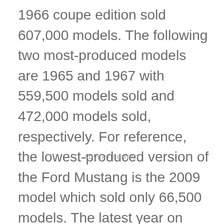1966 coupe edition sold 607,000 models. The following two most-produced models are 1965 and 1967 with 559,500 models sold and 472,000 models sold, respectively. For reference, the lowest-produced version of the Ford Mustang is the 2009 model which sold only 66,500 models. The latest year on record, 2016, sold 150,000 models.
ADVERTISEMENT